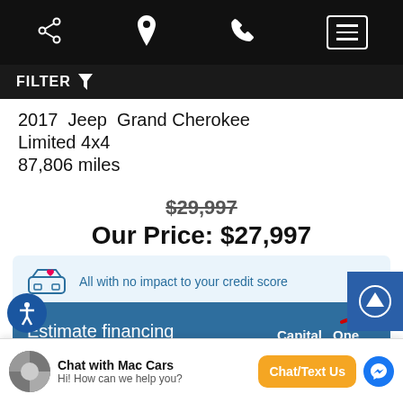Navigation bar with share, location, phone, and menu icons
FILTER
2017 Jeep Grand Cherokee Limited 4x4 87,806 miles
$29,997 (strikethrough) Our Price: $27,997
All with no impact to your credit score
Estimate financing — Capital One
Chat with Mac Cars — Hi! How can we help you? — Chat/Text Us